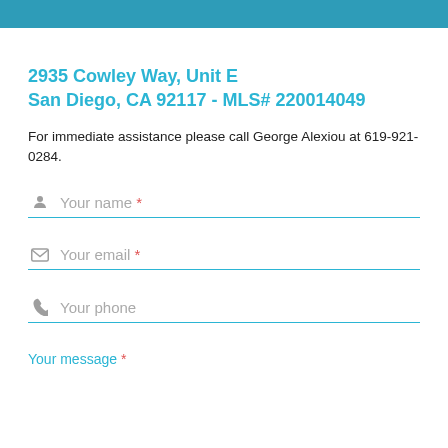2935 Cowley Way, Unit E
San Diego, CA 92117 - MLS# 220014049
For immediate assistance please call George Alexiou at 619-921-0284.
Your name *
Your email *
Your phone
Your message *